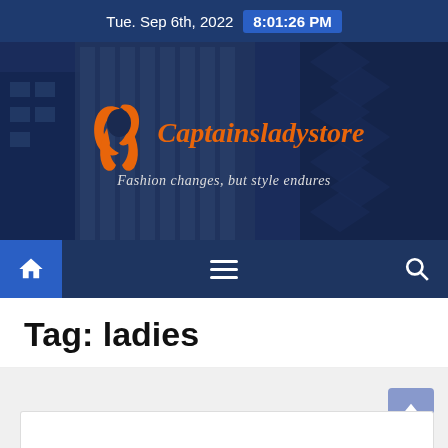Tue. Sep 6th, 2022  8:01:26 PM
[Figure (logo): Captainsladystore logo with orange female silhouette icon and orange italic script text 'Captainsladystore', tagline 'Fashion changes, but style endures', on a dark blue hero banner with city buildings background]
[Figure (screenshot): Navigation bar with home icon button (blue background), hamburger menu icon (center), and search icon (right) on dark navy background]
Tag: ladies
[Figure (screenshot): Light gray content area with a scroll-to-top button (light blue) in bottom right corner and a white card panel at the bottom]